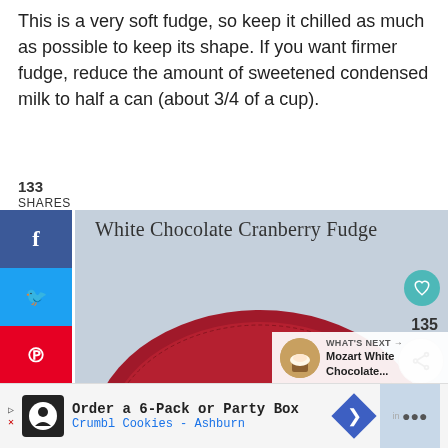This is a very soft fudge, so keep it chilled as much as possible to keep its shape. If you want firmer fudge, reduce the amount of sweetened condensed milk to half a can (about 3/4 of a cup).
133
SHARES
[Figure (screenshot): Screenshot of a food blog page showing White Chocolate Cranberry Fudge with social share sidebar (Facebook, Twitter, Pinterest, heart), a photo of white fudge pieces on a red plate, heart/share buttons, a What's Next thumbnail for Mozart White Chocolate, and an ad banner for Crumbl Cookies Ashburn.]